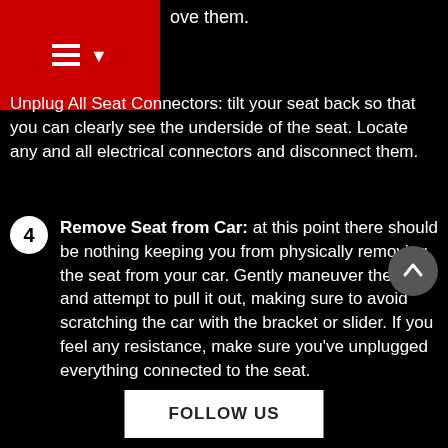ove them.
Unplug All Seat Connectors: tilt your seat back so that you can clearly see the underside of the seat. Locate any and all electrical connectors and disconnect them.
4  Remove Seat from Car: at this point there should be nothing keeping you from physically removing the seat from your car. Gently maneuver the seat and attempt to pull it out, making sure to avoid scratching the car with the bracket or slider. If you feel any resistance, make sure you've unplugged everything connected to the seat.
5  Remove the seat belt buckle (if applicable): if the seat belt buckle is attached to your factory seat, use your socket set and ratchet to remove the bolt holding it in place and remove it. If the buckle is attached to your vehicle's chassis, you can ignore this step.
FOLLOW US